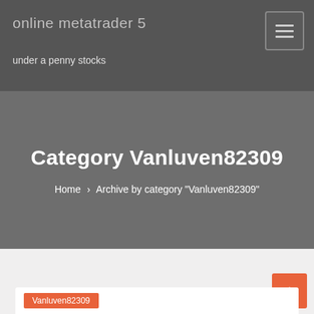online metatrader 5
under a penny stocks
Category Vanluven82309
Home > Archive by category "Vanluven82309"
Vanluven82309